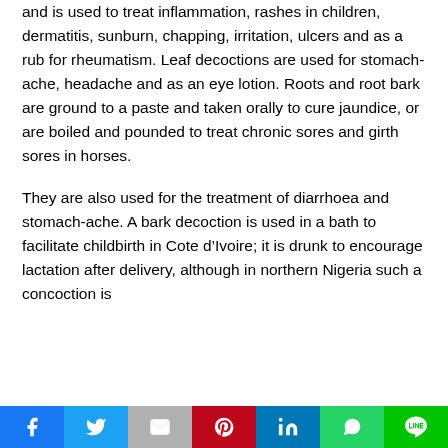and is used to treat inflammation, rashes in children, dermatitis, sunburn, chapping, irritation, ulcers and as a rub for rheumatism. Leaf decoctions are used for stomach-ache, headache and as an eye lotion. Roots and root bark are ground to a paste and taken orally to cure jaundice, or are boiled and pounded to treat chronic sores and girth sores in horses.
They are also used for the treatment of diarrhoea and stomach-ache. A bark decoction is used in a bath to facilitate childbirth in Cote d’Ivoire; it is drunk to encourage lactation after delivery, although in northern Nigeria such a concoction is
Facebook Twitter Gmail Pinterest LinkedIn WhatsApp Line